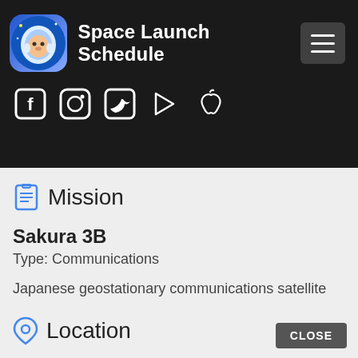Space Launch Schedule
[Figure (screenshot): App icon with astronaut monkey logo]
[Figure (infographic): Social media icons: Facebook, Instagram, Twitter, Google Play, Apple]
Mission
Sakura 3B
Type: Communications
Japanese geostationary communications satellite
Location